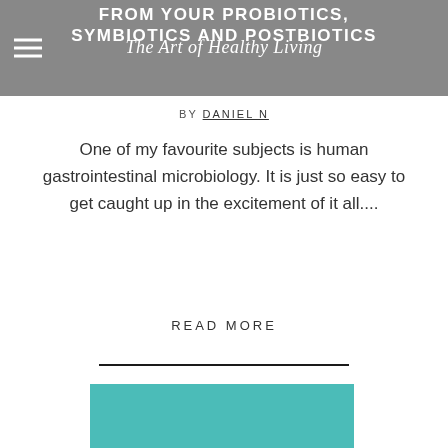The Art of Healthy Living
FROM YOUR PROBIOTICS, SYMBIOTICS AND POSTBIOTICS
BY DANIEL N
One of my favourite subjects is human gastrointestinal microbiology. It is just so easy to get caught up in the excitement of it all....
READ MORE
[Figure (photo): Teal/turquoise colored rectangular image block at bottom of page]